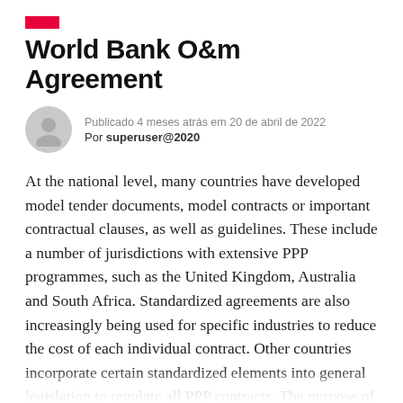[Figure (other): Red horizontal bar decorative element]
World Bank O&m Agreement
Publicado 4 meses atrás em 20 de abril de 2022 Por superuser@2020
At the national level, many countries have developed model tender documents, model contracts or important contractual clauses, as well as guidelines. These include a number of jurisdictions with extensive PPP programmes, such as the United Kingdom, Australia and South Africa. Standardized agreements are also increasingly being used for specific industries to reduce the cost of each individual contract. Other countries incorporate certain standardized elements into general legislation to regulate all PPP contracts. The purpose of this checklist is to identify key areas to consider when reviewing and drafting an operations and maintenance contract where